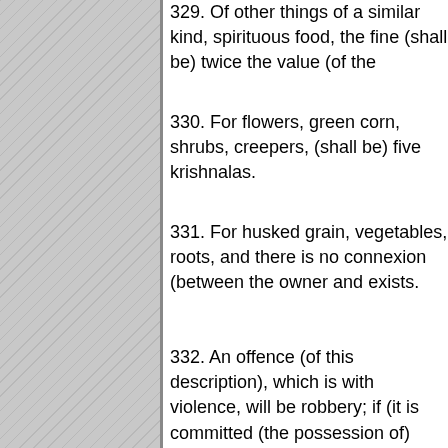329. Of other things of a similar kind, spirituous food, the fine (shall be) twice the value (of the
330. For flowers, green corn, shrubs, creepers, (shall be) five krishnalas.
331. For husked grain, vegetables, roots, and there is no connexion (between the owner and exists.
332. An offence (of this description), which is with violence, will be robbery; if (it is committed (the possession of) anything is denied after it h